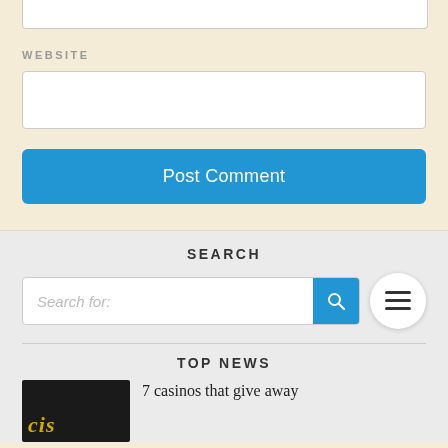[Figure (screenshot): Top portion of a web form input box (empty text area, partially visible at top)]
WEBSITE
[Figure (screenshot): Empty text input field for website URL]
[Figure (screenshot): Blue 'Post Comment' submit button]
SEARCH
[Figure (screenshot): Search bar with placeholder 'Search for:' and blue search button icon, plus a circular hamburger menu button]
TOP NEWS
[Figure (screenshot): News article thumbnail (dark background with golden/orange text partially visible) next to headline text]
7 casinos that give away